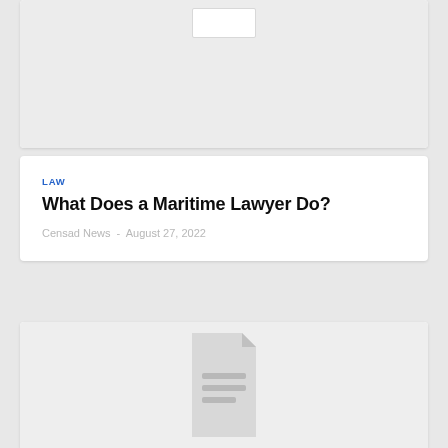[Figure (illustration): Gray placeholder image card at top with a small white document thumbnail icon]
LAW
What Does a Maritime Lawyer Do?
Censad News  -  August 27, 2022
[Figure (illustration): Gray placeholder image card at bottom with a large document icon showing lines of text]